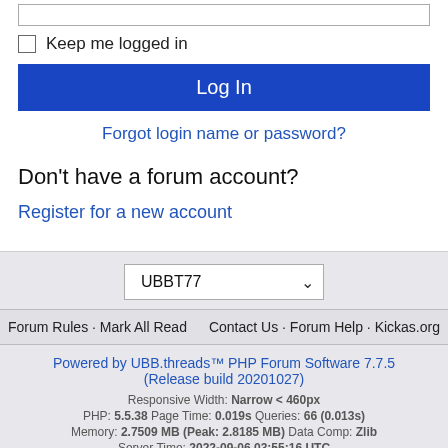[Figure (screenshot): Login form top: input field (password/username bar), Keep me logged in checkbox, Log In button, Forgot login name or password link]
Keep me logged in
Log In
Forgot login name or password?
Don't have a forum account?
Register for a new account
UBBT77
Forum Rules · Mark All Read    Contact Us · Forum Help · Kickas.org
Powered by UBB.threads™ PHP Forum Software 7.7.5
(Release build 20201027)
Responsive Width: Narrow < 460px
PHP: 5.5.38 Page Time: 0.019s Queries: 66 (0.013s)
Memory: 2.7509 MB (Peak: 2.8185 MB) Data Comp: Zlib
Server Time: 2022-09-06 03:55:16 UTC
Valid HTML 5 and Valid CSS